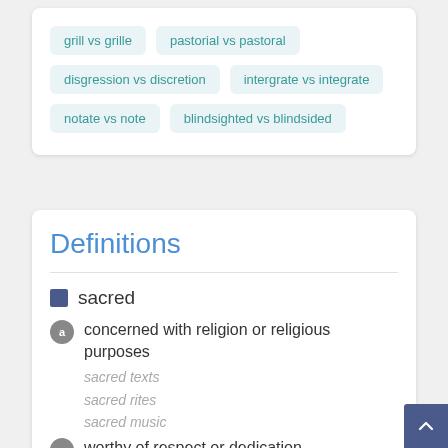grill vs grille
pastorial vs pastoral
disgression vs discretion
intergrate vs integrate
notate vs note
blindsighted vs blindsided
Definitions
sacred
concerned with religion or religious purposes
sacred texts
sacred rites
sacred music
worthy of respect or dedication